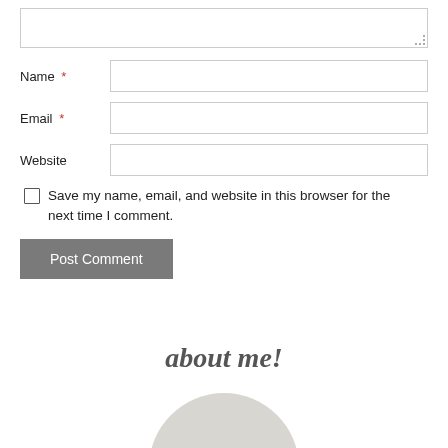[textarea]
Name *
Email *
Website
Save my name, email, and website in this browser for the next time I comment.
Post Comment
about me!
[Figure (photo): Partial photo of a person at the bottom of the page]